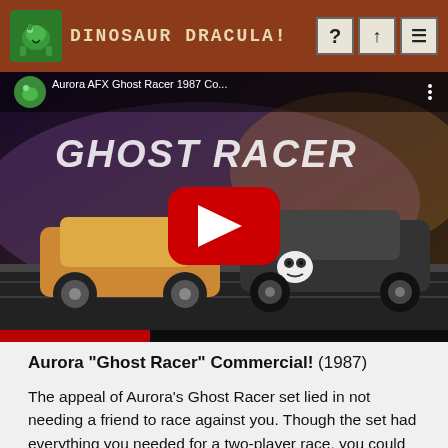DINOSAUR DRACULA!
[Figure (screenshot): YouTube video thumbnail for Aurora AFX Ghost Racer 1987 Commercial showing slot cars with Ghost Racer logo and red YouTube play button]
Aurora “Ghost Racer” Commercial! (1987)
The appeal of Aurora’s Ghost Racer set lied in not needing a friend to race against you. Though the set had everything you needed for a two-player race, you could also opt to go it